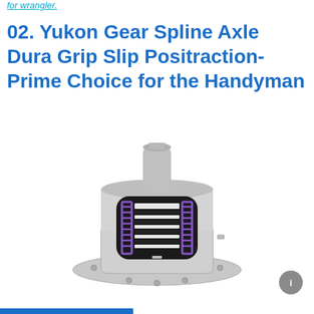for wrangler.
02. Yukon Gear Spline Axle Dura Grip Slip Positraction- Prime Choice for the Handyman
[Figure (photo): Yukon Gear Spline Axle Dura Grip positraction unit — a silver/chrome differential housing with a cutaway view showing internal purple coil springs and clutch pack components.]
i